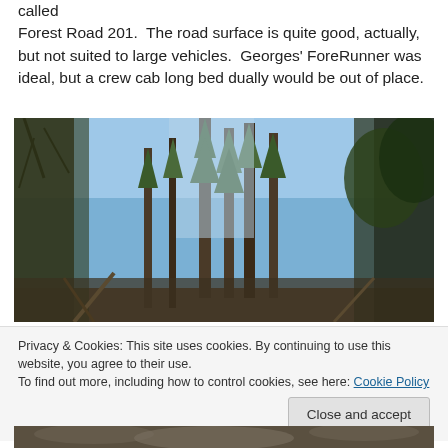called Forest Road 201.  The road surface is quite good, actually, but not suited to large vehicles.  Georges' ForeRunner was ideal, but a crew cab long bed dually would be out of place.
[Figure (photo): A forest road view looking up through tall pine and conifer trees with a bright blue sky visible between the trunks. Some dead trees and brush are visible on the sides.]
Privacy & Cookies: This site uses cookies. By continuing to use this website, you agree to their use.
To find out more, including how to control cookies, see here: Cookie Policy
[Figure (photo): Partial view of another outdoor scene at the bottom of the page, cut off.]